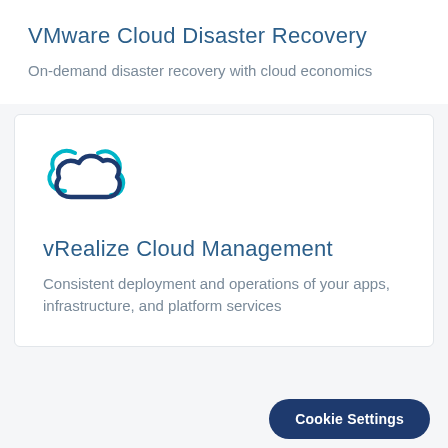VMware Cloud Disaster Recovery
On-demand disaster recovery with cloud economics
[Figure (logo): Cloud icon with teal arc lines — vRealize Cloud Management logo]
vRealize Cloud Management
Consistent deployment and operations of your apps, infrastructure, and platform services
Cookie Settings